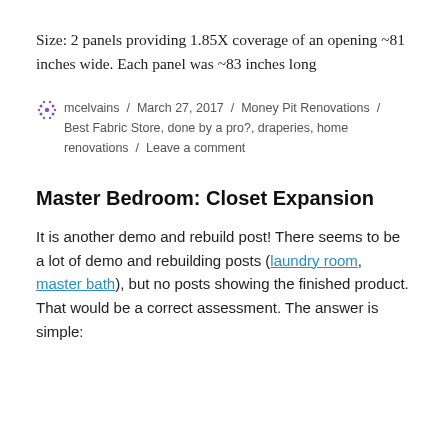Size: 2 panels providing 1.85X coverage of an opening ~81 inches wide. Each panel was ~83 inches long
mcelvains / March 27, 2017 / Money Pit Renovations / Best Fabric Store, done by a pro?, draperies, home renovations / Leave a comment
Master Bedroom: Closet Expansion
It is another demo and rebuild post! There seems to be a lot of demo and rebuilding posts (laundry room, master bath), but no posts showing the finished product. That would be a correct assessment. The answer is simple: